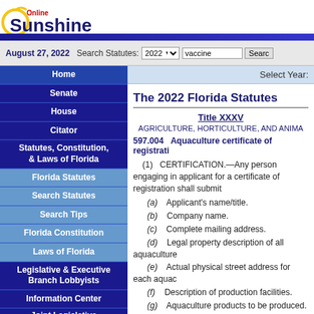[Figure (logo): Online Sunshine logo with arc graphic, dark blue text 'Sunshine' and red 'Online']
August 27, 2022  Search Statutes: 2022  vaccine  Search
Home
Senate
House
Citator
Statutes, Constitution, & Laws of Florida
Florida Statutes
Search Statutes
Search Tips
Florida Constitution
Laws of Florida
Legislative & Executive Branch Lobbyists
Information Center
Joint Legislative Committees & Other Entities
Historical Committees
Florida Government Efficiency Task Force
Legislative Employment
Legistore
Select Year:
The 2022 Florida Statutes
Title XXXV
AGRICULTURE, HORTICULTURE, AND ANIMA
597.004  Aquaculture certificate of registrati
(1)  CERTIFICATION.—Any person engaging in applicant for a certificate of registration shall submit
(a)  Applicant's name/title.
(b)  Company name.
(c)  Complete mailing address.
(d)  Legal property description of all aquaculture
(e)  Actual physical street address for each aquac
(f)  Description of production facilities.
(g)  Aquaculture products to be produced.